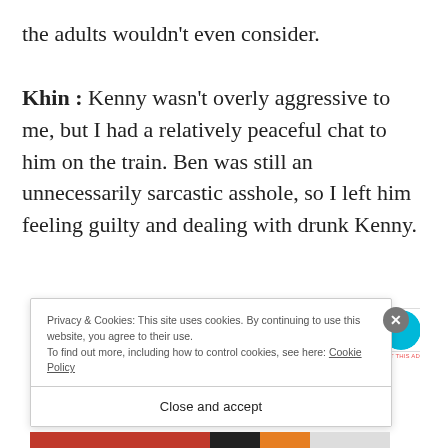the adults wouldn't even consider.
Khin : Kenny wasn't overly aggressive to me, but I had a relatively peaceful chat to him on the train. Ben was still an unnecessarily sarcastic asshole, so I left him feeling guilty and dealing with drunk Kenny.
[Figure (other): Advertisement banner with purple graphic, teal arrow, text 'subscriptions online', and blue arc graphic]
Privacy & Cookies: This site uses cookies. By continuing to use this website, you agree to their use.
To find out more, including how to control cookies, see here: Cookie Policy
Close and accept